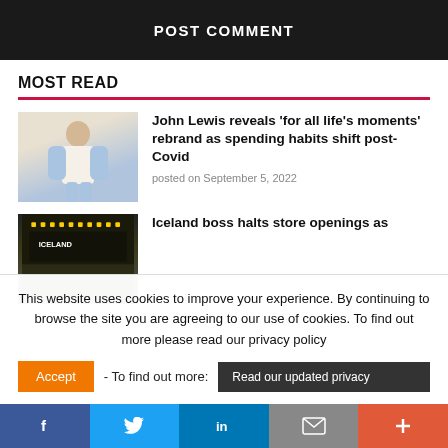POST COMMENT
MOST READ
[Figure (photo): Fashion model in cream vest and light blue outfit]
John Lewis reveals ‘for all life’s moments’ rebrand as spending habits shift post-Covid
posted on September 5, 2022
[Figure (photo): Iceland store exterior at night]
Iceland boss halts store openings as
This website uses cookies to improve your experience. By continuing to browse the site you are agreeing to our use of cookies. To find out more please read our privacy policy
Accept - To find out more: Read our updated privacy
f  𝒛  in  ✉  +